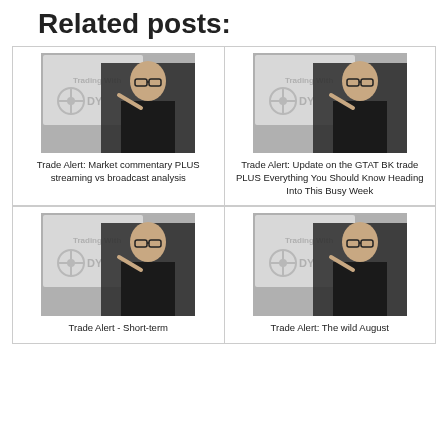Related posts:
[Figure (photo): Photo of man in front of 'Trading With Cody' presentation screen, gesturing with finger]
Trade Alert: Market commentary PLUS streaming vs broadcast analysis
[Figure (photo): Photo of man in front of 'Trading With Cody' presentation screen, gesturing with finger]
Trade Alert: Update on the GTAT BK trade PLUS Everything You Should Know Heading Into This Busy Week
[Figure (photo): Photo of man in front of 'Trading With Cody' presentation screen, gesturing with finger]
Trade Alert - Short-term
[Figure (photo): Photo of man in front of 'Trading With Cody' presentation screen, gesturing with finger]
Trade Alert: The wild August